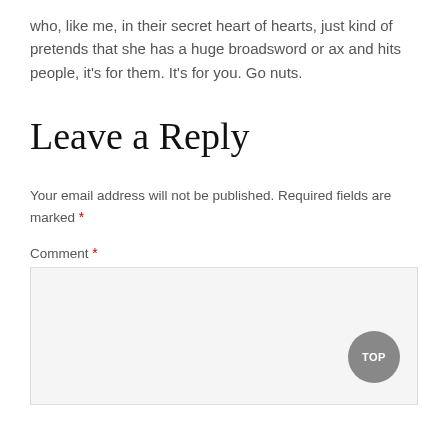who, like me, in their secret heart of hearts, just kind of pretends that she has a huge broadsword or ax and hits people, it's for them. It's for you. Go nuts.
Leave a Reply
Your email address will not be published. Required fields are marked *
Comment *